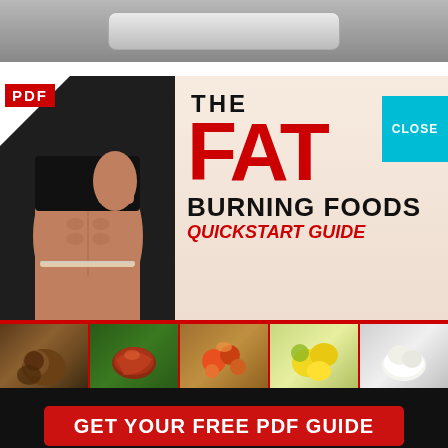[Figure (screenshot): Top navigation bar with gray gradient background and a rounded button element]
[Figure (illustration): Book cover advertisement for 'The Fat Burning Foods Quickstart Guide' PDF. Left side shows a person with a fit torso giving thumbs up. Right side has the title text in black and red. A CLOSE button in teal/cyan is in the upper right. A red strip with food photos (coconut, steak, oils, citrus fruits, cheese) runs along the bottom. A red PDF label with peeling page effect is in the top left corner.]
GET YOUR FREE PDF GUIDE